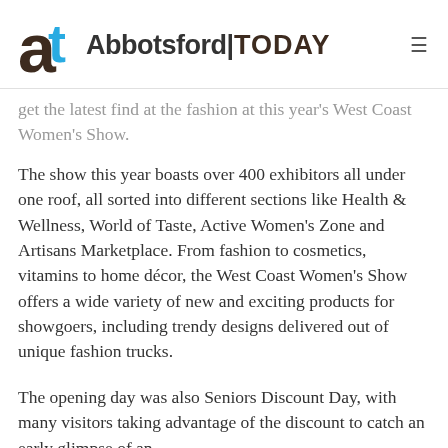Abbotsford TODAY
get the latest find at the fashion at this year's West Coast Women's Show.
The show this year boasts over 400 exhibitors all under one roof, all sorted into different sections like Health & Wellness, World of Taste, Active Women's Zone and Artisans Marketplace. From fashion to cosmetics, vitamins to home décor, the West Coast Women's Show offers a wide variety of new and exciting products for showgoers, including trendy designs delivered out of unique fashion trucks.
The opening day was also Seniors Discount Day, with many visitors taking advantage of the discount to catch an early glimpse of an